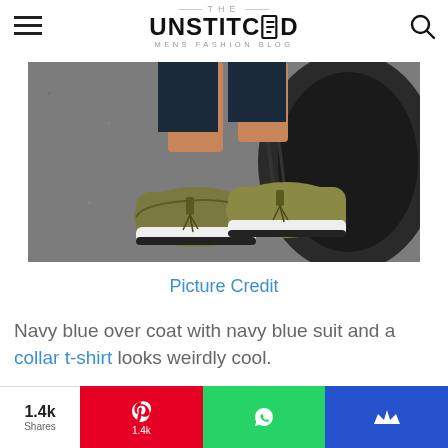THE UNSTITCHED MENS FASHION BLOG
[Figure (photo): Close-up photo of a person's feet wearing olive green tassel loafers with white soles, standing on pavement next to a large tire]
Picture Credit
Navy blue over coat with navy blue suit and a collar t-shirt looks weirdly cool.
1.4k Shares | 1.4k Pinterest shares | WhatsApp | MightyShare